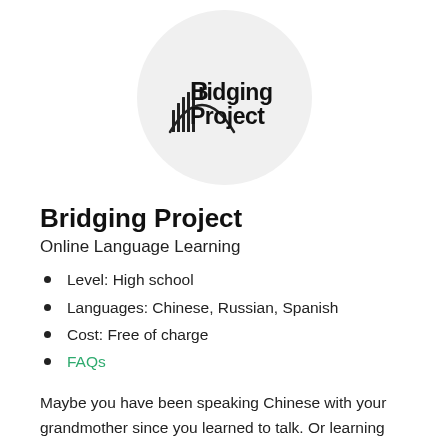[Figure (logo): Bridging Project logo: stylized bold text 'Bridging Project' with a bridge graphic, inside a light gray circle]
Bridging Project
Online Language Learning
Level: High school
Languages: Chinese, Russian, Spanish
Cost: Free of charge
FAQs
Maybe you have been speaking Chinese with your grandmother since you learned to talk. Or learning